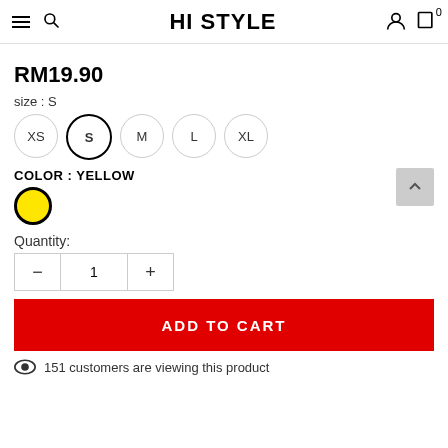HI STYLE
RM19.90
size : S
XS  S  M  L  XL
COLOR : YELLOW
[Figure (illustration): Yellow color swatch circle with black border]
Quantity:
1
ADD TO CART
151 customers are viewing this product